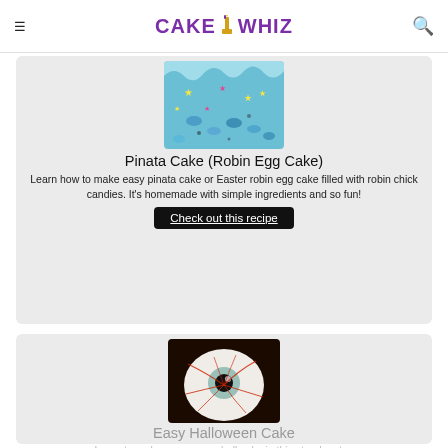CAKE WHIZ
[Figure (photo): Top portion of a blue pinata cake / robin egg cake with colorful star sprinkles and blue egg candies]
Pinata Cake (Robin Egg Cake)
Learn how to make easy pinata cake or Easter robin egg cake filled with robin chick candies. It's homemade with simple ingredients and so fun!
Check out this recipe
[Figure (photo): A round white eyeball cake with red veins and a large black pupil/iris, on a dark background]
Easy Halloween Cake
Learn to make an easy eyeball cake in this step-by-step